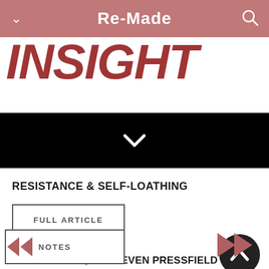Re-Made
INSIGHT
[Figure (other): Black banner with white chevron/arrow down icon]
RESISTANCE & SELF-LOATHING
FULL ARTICLE
SAMUEL DAVIES
TURNING PRO, BY STEVEN PRESSFIELD
NOTES